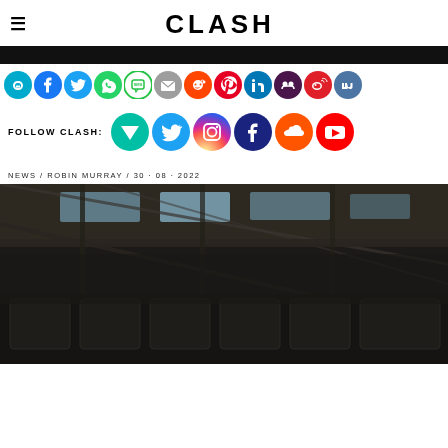≡  CLASH
[Figure (infographic): Row of social sharing icons: copy link (teal), Facebook (blue), Twitter (light blue), WhatsApp (green), SMS (green outline), Email (grey), Reddit (orange), Pinterest (red), LinkedIn (blue), Clubhouse (purple), Weibo (red), VK (blue-grey)]
FOLLOW CLASH:
[Figure (infographic): Row of social follow icons: Vonage/V (teal), Twitter (blue), Instagram (pink/red), Facebook (navy), SoundCloud (orange), YouTube (red)]
NEWS / ROBIN MURRAY / 30 · 08 · 2022
[Figure (photo): Dark interior photo of what appears to be a large industrial or stadium venue, showing metal structural beams, overhead roof with windows/skylights letting in light, and rows of seats or barriers in the foreground. Dark moody atmosphere.]